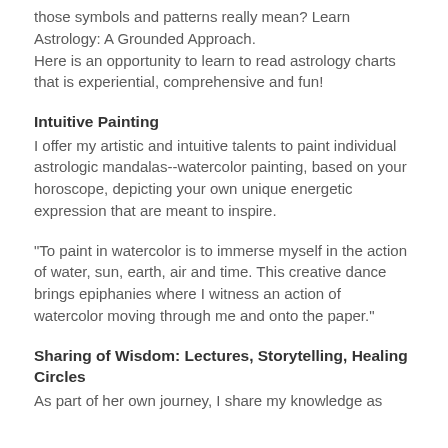those symbols and patterns really mean? Learn Astrology: A Grounded Approach.
Here is an opportunity to learn to read astrology charts that is experiential, comprehensive and fun!
Intuitive Painting
I offer my artistic and intuitive talents to paint individual astrologic mandalas--watercolor painting, based on your horoscope, depicting your own unique energetic expression that are meant to inspire.
“To paint in watercolor is to immerse myself in the action of water, sun, earth, air and time. This creative dance brings epiphanies where I witness an action of watercolor moving through me and onto the paper.”
Sharing of Wisdom: Lectures, Storytelling, Healing Circles
As part of her own journey, I share my knowledge as